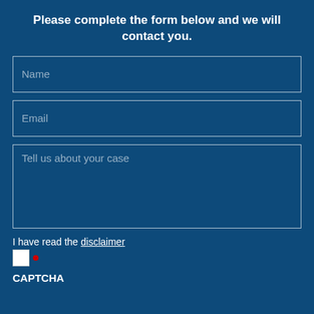Please complete the form below and we will contact you.
Name
Email
Tell us about your case
I have read the disclaimer
CAPTCHA